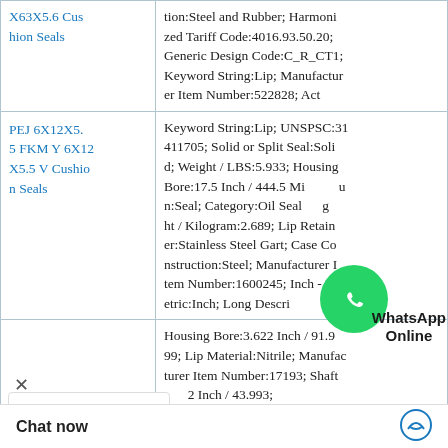| Product | Details |
| --- | --- |
| X63X5.6 Cushion Seals | tion:Steel and Rubber; Harmonized Tariff Code:4016.93.50.20; Generic Design Code:C_R_CT1; Keyword String:Lip; Manufacturer Item Number:522828; Act |
| PEJ 6X12X5.5 FKM Y 6X12X5.5 V Cushion Seals | Keyword String:Lip; UNSPSC:31411705; Solid or Split Seal:Solid; Weight / LBS:5.933; Housing Bore:17.5 Inch / 444.5 Mi... n:Seal; Category:Oil Seal... ht / Kilogram:2.689; Lip Retainer:Stainless Steel Gart; Case Construction:Steel; Manufacturer Item Number:1600245; Inch - Metric:Inch; Long Descri |
|  | Housing Bore:3.622 Inch / 91.999; Lip Material:Nitrile; Manufacturer Item Number:17193; Shaft ...2 Inch / 43.993; ...gram:0.086; Manu ...SKF...Lip Reta... |
Chat now